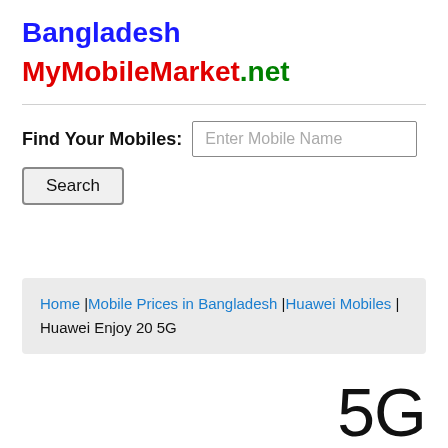Bangladesh
MyMobileMarket.net
Find Your Mobiles: [search input] Search
Home | Mobile Prices in Bangladesh | Huawei Mobiles | Huawei Enjoy 20 5G
5G sh